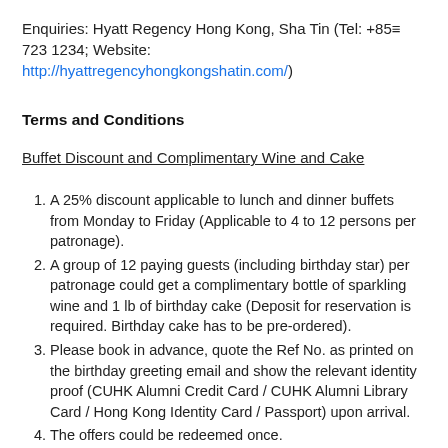Enquiries: Hyatt Regency Hong Kong, Sha Tin (Tel: +852 3723 1234; Website: http://hyattregencyhongkongshatin.com/)
Terms and Conditions
Buffet Discount and Complimentary Wine and Cake
A 25% discount applicable to lunch and dinner buffets from Monday to Friday (Applicable to 4 to 12 persons per patronage).
A group of 12 paying guests (including birthday star) per patronage could get a complimentary bottle of sparkling wine and 1 lb of birthday cake (Deposit for reservation is required. Birthday cake has to be pre-ordered).
Please book in advance, quote the Ref No. as printed on the birthday greeting email and show the relevant identity proof (CUHK Alumni Credit Card / CUHK Alumni Library Card / Hong Kong Identity Card / Passport) upon arrival.
The offers could be redeemed once.
The offers are not applicable on public holidays and cannot be